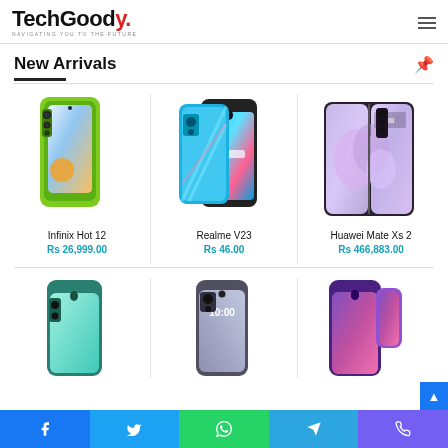TechGoody - NAVIGATING YOU TO THE FUTURE
New Arrivals
[Figure (photo): Infinix Hot 12 smartphone in green color]
Infinix Hot 12
Rs 26,999.00
[Figure (photo): Realme V23 smartphone in blue color]
Realme V23
Rs 46.00
[Figure (photo): Huawei Mate Xs 2 foldable smartphone]
Huawei Mate Xs 2
Rs 466,883.00
[Figure (photo): Teal colored smartphone (partial view)]
[Figure (photo): Gray/blue smartphone (partial view)]
[Figure (photo): Purple smartphone (partial view)]
Social share buttons: Facebook, Twitter, WhatsApp, Telegram, Viber